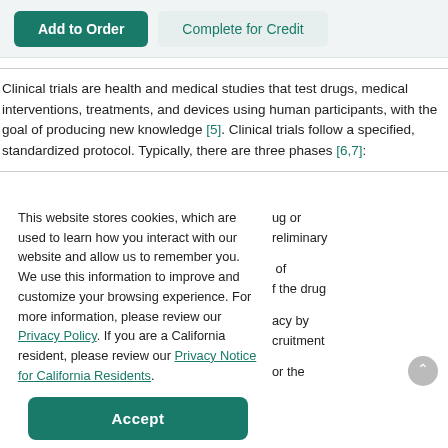[Figure (screenshot): Two buttons at the top: 'Add to Order' (green/teal filled) and 'Complete for Credit' (light teal, outline style)]
Clinical trials are health and medical studies that test drugs, medical interventions, treatments, and devices using human participants, with the goal of producing new knowledge [5]. Clinical trials follow a specified, standardized protocol. Typically, there are three phases [6,7]:
This website stores cookies, which are used to learn how you interact with our website and allow us to remember you. We use this information to improve and customize your browsing experience. For more information, please review our Privacy Policy. If you are a California resident, please review our Privacy Notice for California Residents.
ug or preliminary of f the drug acy by cruitment or the
[Figure (screenshot): Accept button - large green/teal rounded rectangle button with white bold text 'Accept']
drug's safety in the general population.